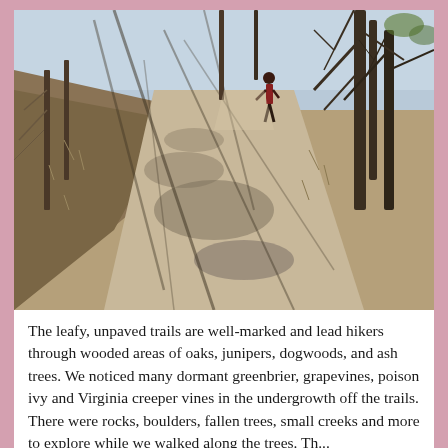[Figure (photo): A hiker standing on a rocky, unpaved trail in a wooded area with bare trees in late winter or early spring. The trail winds through the landscape with shadows from tree branches cast across the rocky path. Dry grass and brush line the sides of the trail.]
The leafy, unpaved trails are well-marked and lead hikers through wooded areas of oaks, junipers, dogwoods, and ash trees. We noticed many dormant greenbrier, grapevines, poison ivy and Virginia creeper vines in the undergrowth off the trails. There were rocks, boulders, fallen trees, small creeks and more to explore while we walked along the trees. There...